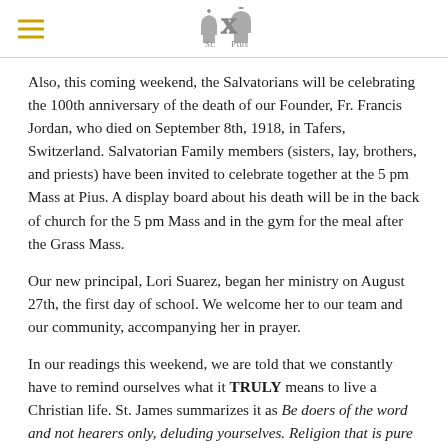St. Pius X [logo]
Also, this coming weekend, the Salvatorians will be celebrating the 100th anniversary of the death of our Founder, Fr. Francis Jordan, who died on September 8th, 1918, in Tafers, Switzerland. Salvatorian Family members (sisters, lay, brothers, and priests) have been invited to celebrate together at the 5 pm Mass at Pius. A display board about his death will be in the back of church for the 5 pm Mass and in the gym for the meal after the Grass Mass.
Our new principal, Lori Suarez, began her ministry on August 27th, the first day of school. We welcome her to our team and our community, accompanying her in prayer.
In our readings this weekend, we are told that we constantly have to remind ourselves what it TRULY means to live a Christian life. St. James summarizes it as Be doers of the word and not hearers only, deluding yourselves. Religion that is pure and [continues]